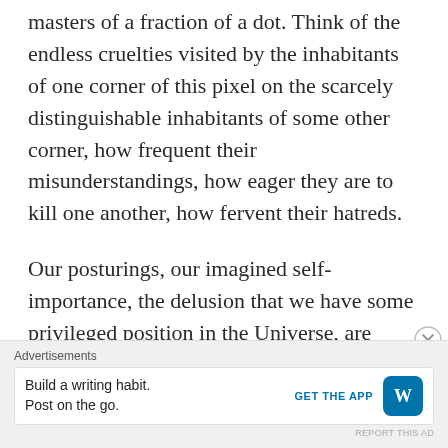masters of a fraction of a dot. Think of the endless cruelties visited by the inhabitants of one corner of this pixel on the scarcely distinguishable inhabitants of some other corner, how frequent their misunderstandings, how eager they are to kill one another, how fervent their hatreds.
Our posturings, our imagined self-importance, the delusion that we have some privileged position in the Universe, are challenged by this point of pale light. Our planet is a lonely speck
Advertisements
Build a writing habit. Post on the go.